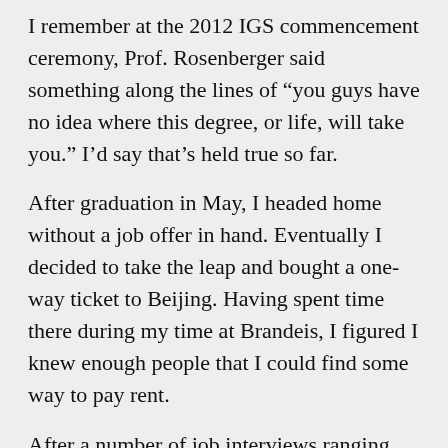I remember at the 2012 IGS commencement ceremony, Prof. Rosenberger said something along the lines of “you guys have no idea where this degree, or life, will take you.” I’d say that’s held true so far.
After graduation in May, I headed home without a job offer in hand. Eventually I decided to take the leap and bought a one-way ticket to Beijing. Having spent time there during my time at Brandeis, I figured I knew enough people that I could find some way to pay rent.
After a number of job interviews ranging from promising to skeezy to downright weird, I settled on a small cultural exchange center called The Hutong. I’ve been able to witness and participate in some incredibly interesting entrepreneurial adventures. When I joined The Hutong, we had only 8 full time employees (including myself). In the past year and a